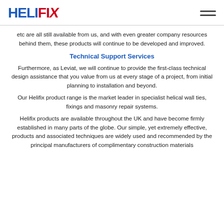HELIFIX
etc are all still available from us, and with even greater company resources behind them, these products will continue to be developed and improved.
Technical Support Services
Furthermore, as Leviat, we will continue to provide the first-class technical design assistance that you value from us at every stage of a project, from initial planning to installation and beyond.
Our Helifix product range is the market leader in specialist helical wall ties, fixings and masonry repair systems.
Helifix products are available throughout the UK and have become firmly established in many parts of the globe. Our simple, yet extremely effective, products and associated techniques are widely used and recommended by the principal manufacturers of complimentary construction materials